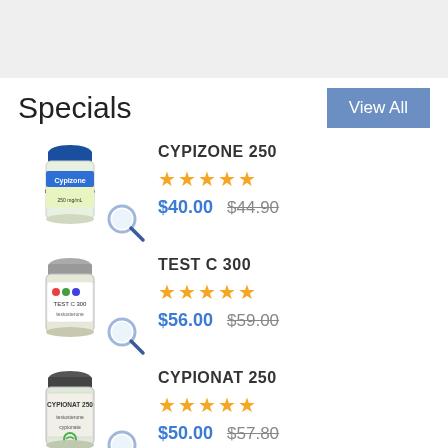Specials
View All
[Figure (photo): Cypizone 250 vial product image with magnifier icon]
CYPIZONE 250
★★★★★
$40.00   $44.90
[Figure (photo): Test C 300 vial product image with magnifier icon]
TEST C 300
★★★★★
$56.00   $59.00
[Figure (photo): Cypionat 250 vial product image with magnifier icon]
CYPIONAT 250
★★★★★
$50.00   $57.80